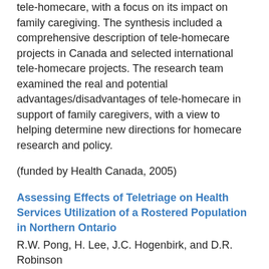tele-homecare, with a focus on its impact on family caregiving. The synthesis included a comprehensive description of tele-homecare projects in Canada and selected international tele-homecare projects. The research team examined the real and potential advantages/disadvantages of tele-homecare in support of family caregivers, with a view to helping determine new directions for homecare research and policy.
(funded by Health Canada, 2005)
Assessing Effects of Teletriage on Health Services Utilization of a Rostered Population in Northern Ontario
R.W. Pong, H. Lee, J.C. Hogenbirk, and D.R. Robinson
CRaNHR and the Group Health Centre